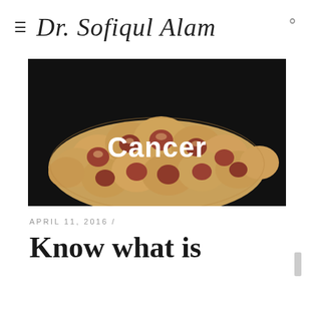≡  Dr. Sofiqul Alam
[Figure (photo): Close-up microscopic image of cancer cells with reddish-brown textured surface on dark background, with white bold text 'Cancer' overlaid in the center]
APRIL 11, 2016 /
Know what is